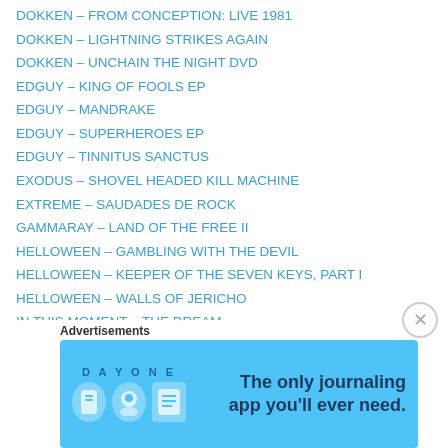DOKKEN – FROM CONCEPTION: LIVE 1981
DOKKEN – LIGHTNING STRIKES AGAIN
DOKKEN – UNCHAIN THE NIGHT DVD
EDGUY – KING OF FOOLS EP
EDGUY – MANDRAKE
EDGUY – SUPERHEROES EP
EDGUY – TINNITUS SANCTUS
EXODUS – SHOVEL HEADED KILL MACHINE
EXTREME – SAUDADES DE ROCK
GAMMARAY – LAND OF THE FREE II
HELLOWEEN – GAMBLING WITH THE DEVIL
HELLOWEEN – KEEPER OF THE SEVEN KEYS, PART I
HELLOWEEN – WALLS OF JERICHO
IN THIS MOMENT – THE DREAM
IRON MAIDEN – DIFFERENT WORLD MAXI SINGLE
JUDAS PRIEST – NOSTRADAMUS
KISS – LOVE GUN
Advertisements
[Figure (other): Day One journaling app advertisement banner with blue background, icons, and text: The only journaling app you'll ever need.]